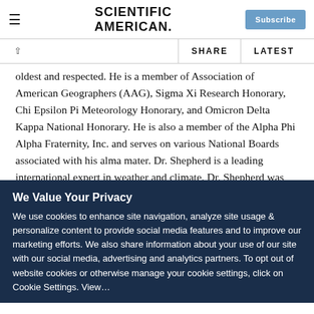SCIENTIFIC AMERICAN
oldest and respected. He is a member of Association of American Geographers (AAG), Sigma Xi Research Honorary, Chi Epsilon Pi Meteorology Honorary, and Omicron Delta Kappa National Honorary. He is also a member of the Alpha Phi Alpha Fraternity, Inc. and serves on various National Boards associated with his alma mater. Dr. Shepherd is a leading international expert in weather and climate. Dr. Shepherd was the 2013 President of American Meteorological Society (AMS)...
We Value Your Privacy
We use cookies to enhance site navigation, analyze site usage & personalize content to provide social media features and to improve our marketing efforts. We also share information about your use of our site with our social media, advertising and analytics partners. To opt out of website cookies or otherwise manage your cookie settings, click on Cookie Settings. View...